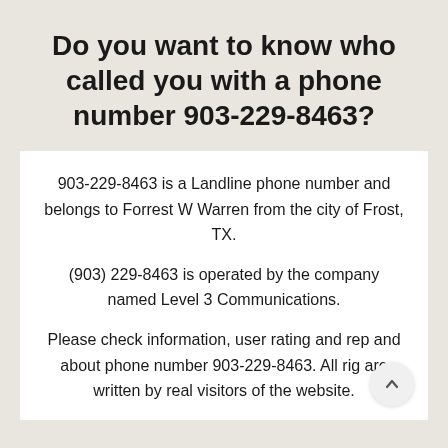Do you want to know who called you with a phone number 903-229-8463?
903-229-8463 is a Landline phone number and belongs to Forrest W Warren from the city of Frost, TX.
(903) 229-8463 is operated by the company named Level 3 Communications.
Please check information, user rating and rep and about phone number 903-229-8463. All rig are written by real visitors of the website.